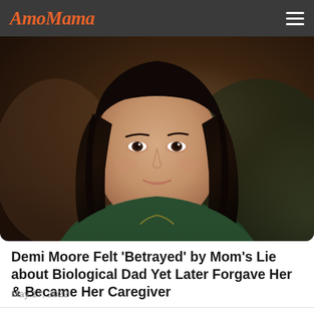AmoMama
[Figure (photo): Portrait photo of Demi Moore with long dark hair, wearing a dark green outfit, looking to the side with a slight smile, against a warm dark background]
Demi Moore Felt 'Betrayed' by Mom's Lie about Biological Dad Yet Later Forgave Her & Became Her Caregiver
May 17, 2022